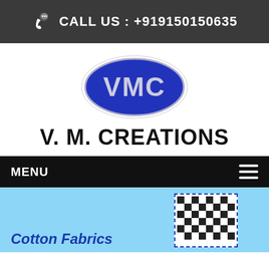CALL US : +919150150635
[Figure (logo): VMC oval blue logo with white letters VMC]
V. M. CREATIONS
MENU
[Figure (photo): Cotton Fabrics product image - black and white checkered fabric on light blue background]